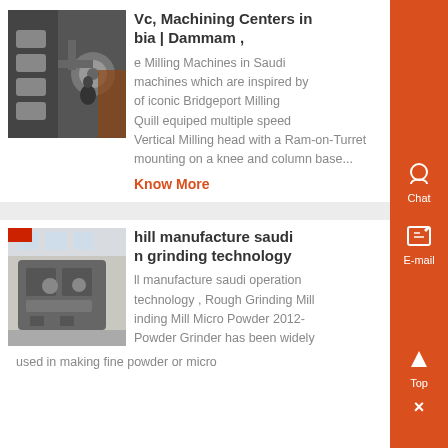[Figure (photo): Industrial milling machine close-up]
Vc, Machining Centers in bia | Dammam ,
e Milling Machines in Saudi machines which are inspired by of iconic Bridgeport Milling Quill equiped multiple speed Vertical Milling head with a Ram-on-Turret mounting on a knee and column base...
Know More
[Figure (photo): Industrial grinding mill machine in a warehouse]
hill manufacture saudi n grinding technology
ll manufacture saudi operation technology , Rough Grinding Mill inding Mill Micro Powder 2012- Powder Grinder has been widely used in making fine powder or micro